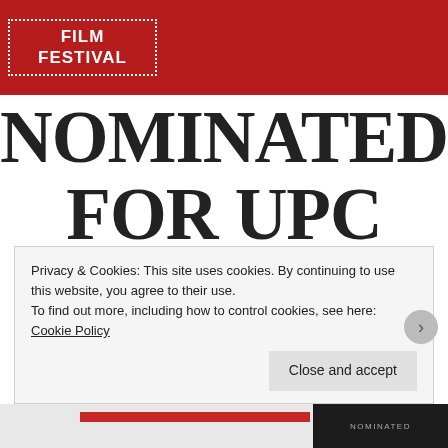[Figure (logo): Film Festival logo — white text on red background with dotted border: FILM FESTIVAL]
NOMINATED FOR UPC ANIMATIE PRIJS
Privacy & Cookies: This site uses cookies. By continuing to use this website, you agree to their use.
To find out more, including how to control cookies, see here: Cookie Policy
Close and accept